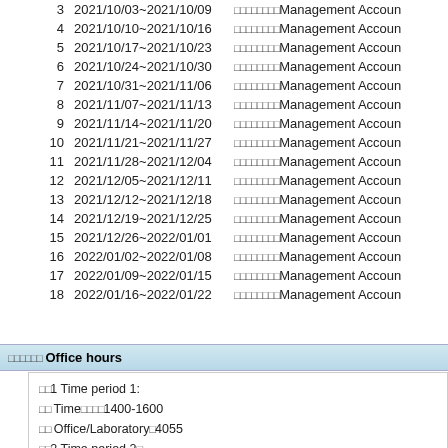| # | Date Range | Name |
| --- | --- | --- |
| 3 | 2021/10/03~2021/10/09 | □□□□□□□□Management Accoun |
| 4 | 2021/10/10~2021/10/16 | □□□□□□□□Management Accoun |
| 5 | 2021/10/17~2021/10/23 | □□□□□□□□Management Accoun |
| 6 | 2021/10/24~2021/10/30 | □□□□□□□□Management Accoun |
| 7 | 2021/10/31~2021/11/06 | □□□□□□□□Management Accoun |
| 8 | 2021/11/07~2021/11/13 | □□□□□□□□Management Accoun |
| 9 | 2021/11/14~2021/11/20 | □□□□□□□□Management Accoun |
| 10 | 2021/11/21~2021/11/27 | □□□□□□□□Management Accoun |
| 11 | 2021/11/28~2021/12/04 | □□□□□□□□Management Accoun |
| 12 | 2021/12/05~2021/12/11 | □□□□□□□□Management Accoun |
| 13 | 2021/12/12~2021/12/18 | □□□□□□□□Management Accoun |
| 14 | 2021/12/19~2021/12/25 | □□□□□□□□Management Accoun |
| 15 | 2021/12/26~2022/01/01 | □□□□□□□□Management Accoun |
| 16 | 2022/01/02~2022/01/08 | □□□□□□□□Management Accoun |
| 17 | 2022/01/09~2022/01/15 | □□□□□□□□Management Accoun |
| 18 | 2022/01/16~2022/01/22 | □□□□□□□□Management Accoun |
□□□□□□ Office hours
□□1 Time period 1:
□□ Time□□□□1400-1600
□□ Office/Laboratory□4055
□□2 Time period 2□
□□ Time□□□□1400-1600